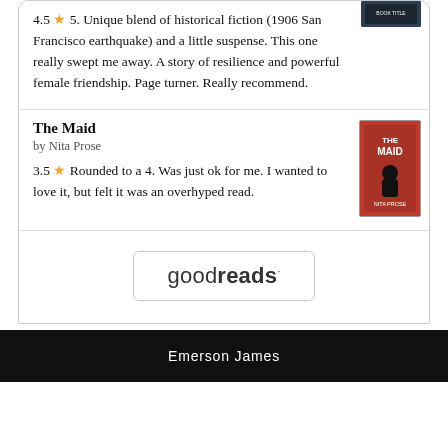4.5 ★ 5. Unique blend of historical fiction (1906 San Francisco earthquake) and a little suspense. This one really swept me away. A story of resilience and powerful female friendship. Page turner. Really recommend.
The Maid
by Nita Prose
3.5 ★ Rounded to a 4. Was just ok for me. I wanted to love it, but felt it was an overhyped read.
[Figure (logo): goodreads logo inside a rounded rectangle button]
Emerson James